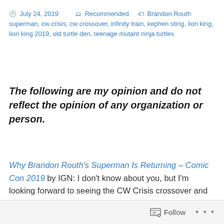July 24, 2019   Recommended   Brandon Routh superman, cw crisis, cw crossover, infinity train, kephen sting, lion king, lion king 2019, old turtle den, teenage mutant ninja turtles
The following are my opinion and do not reflect the opinion of any organization or person.
Why Brandon Routh's Superman Is Returning – Comic Con 2019 by IGN: I don't know about you, but I'm looking forward to seeing the CW Crisis crossover and seeing Brandon Routh play Superman again.
Follow ...